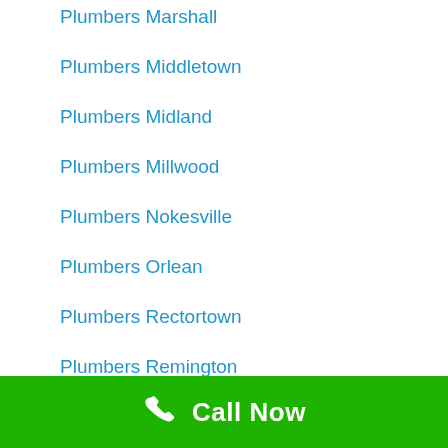Plumbers Marshall
Plumbers Middletown
Plumbers Midland
Plumbers Millwood
Plumbers Nokesville
Plumbers Orlean
Plumbers Rectortown
Plumbers Remington
Plumbers Rixeyville
Call Now